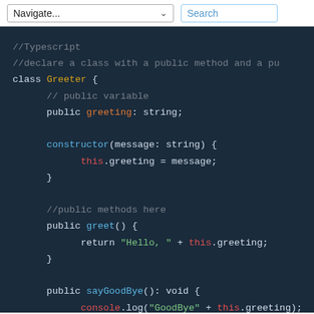Navigate... | Search
[Figure (screenshot): TypeScript code example showing a Greeter class with public property 'greeting: string', a constructor accepting a message string, a greet() method returning 'Hello, ' + this.greeting, and a sayGoodBye() method logging 'GoodBye' + this.greeting to the console. Dark-themed code editor with syntax highlighting.]